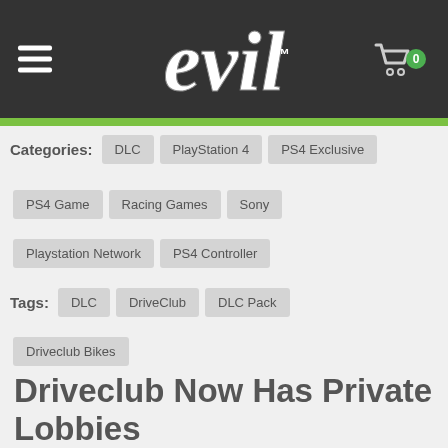evil
Categories: DLC | PlayStation 4 | PS4 Exclusive | PS4 Game | Racing Games | Sony | Playstation Network | PS4 Controller
Tags: DLC | DriveClub | DLC Pack | Driveclub Bikes
Driveclub Now Has Private Lobbies